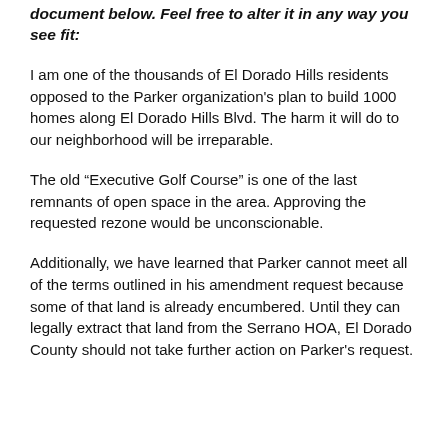document below. Feel free to alter it in any way you see fit:
I am one of the thousands of El Dorado Hills residents opposed to the Parker organization's plan to build 1000 homes along El Dorado Hills Blvd. The harm it will do to our neighborhood will be irreparable.
The old “Executive Golf Course” is one of the last remnants of open space in the area.  Approving the requested rezone would be unconscionable.
Additionally, we have learned that Parker cannot meet all of the terms outlined in his amendment request because some of that land is already encumbered.  Until they can legally extract that land from the Serrano HOA, El Dorado County should not take further action on Parker's request.